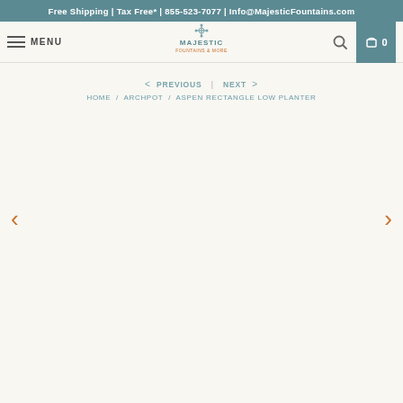Free Shipping | Tax Free* | 855-523-7077 | Info@MajesticFountains.com
[Figure (logo): Majestic Fountains & More logo with decorative emblem and text]
MENU
< PREVIOUS | NEXT >
HOME / ARCHPOT / ASPEN RECTANGLE LOW PLANTER
[Figure (photo): Product image area for Aspen Rectangle Low Planter (empty/white area with carousel navigation arrows)]